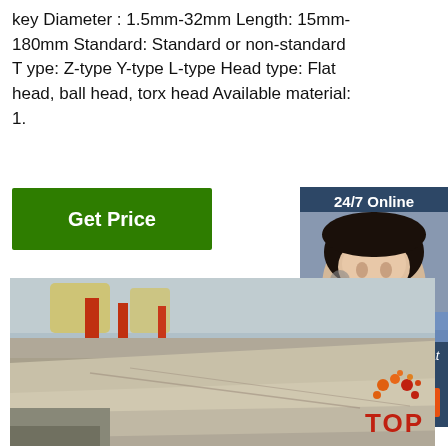key Diameter : 1.5mm-32mm Length: 15mm-180mm Standard: Standard or non-standard T ype: Z-type Y-type L-type Head type: Flat head, ball head, torx head Available material: 1.
[Figure (other): Green 'Get Price' button]
[Figure (other): 24/7 Online chat widget with female customer service representative wearing headset, 'Click here for free chat!' text, and orange QUOTATION button]
[Figure (photo): Industrial warehouse or factory floor showing large steel plates stacked/laid flat, with red metal support structures in background and large windows]
[Figure (logo): TOP badge with orange/red dots pattern above the text TOP in red]